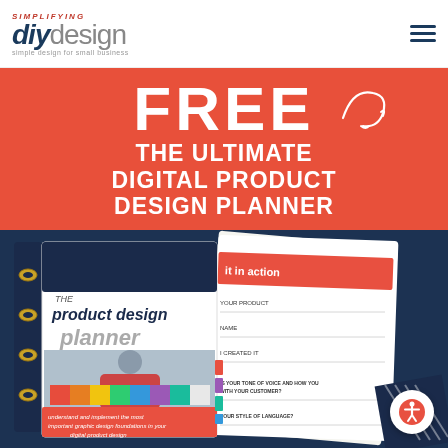Simplifying DIY Design
FREE
THE ULTIMATE DIGITAL PRODUCT DESIGN PLANNER
[Figure (photo): Photo of a product design planner binder with pages showing worksheet content, placed on a decorative background. The binder cover reads 'the product design planner' with a subtitle 'understand and implement the most important graphic design foundations in your digital product design'.]